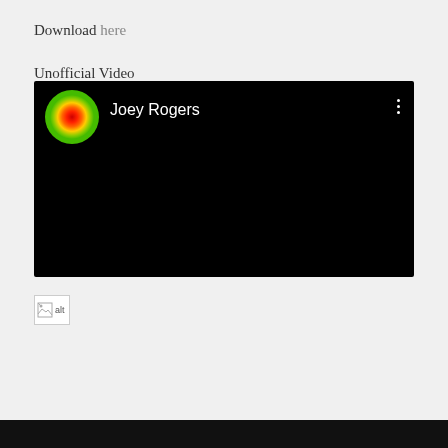Download here
Unofficial Video
[Figure (screenshot): A video player screenshot showing a black screen with a YouTube-style header. The header shows a circular avatar with a red-orange heat-map style circle on green background and the channel name 'Joey Rogers' in white text. A three-dot menu icon appears on the right.]
[Figure (photo): A broken image placeholder showing alt text icon]